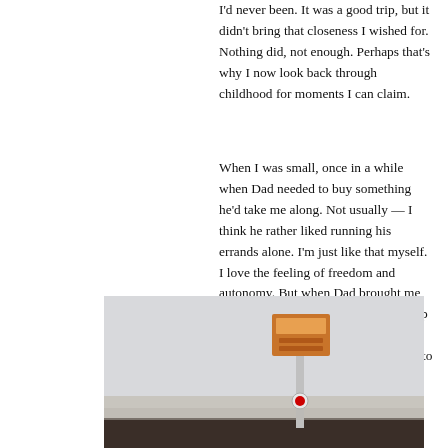I'd never been. It was a good trip, but it didn't bring that closeness I wished for. Nothing did, not enough. Perhaps that's why I now look back through childhood for moments I can claim.
When I was small, once in a while when Dad needed to buy something he'd take me along. Not usually — I think he rather liked running his errands alone. I'm just like that myself. I love the feeling of freedom and autonomy. But when Dad brought me along I knew the deal: I had to keep up with him, stay quiet, not touch the merchandise — and never pester him to buy me anything.
[Figure (photo): Outdoor photograph showing the top of a tall sign with orange/amber lettering against a light grey overcast sky, with a dark roofline or building edge in the lower portion of the frame.]